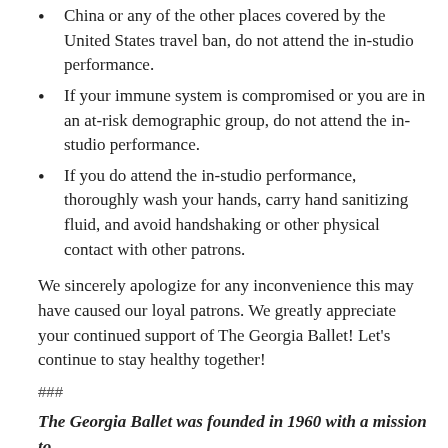China or any of the other places covered by the United States travel ban, do not attend the in-studio performance.
If your immune system is compromised or you are in an at-risk demographic group, do not attend the in-studio performance.
If you do attend the in-studio performance, thoroughly wash your hands, carry hand sanitizing fluid, and avoid handshaking or other physical contact with other patrons.
We sincerely apologize for any inconvenience this may have caused our loyal patrons. We greatly appreciate your continued support of The Georgia Ballet! Let’s continue to stay healthy together!
###
The Georgia Ballet was founded in 1960 with a mission to